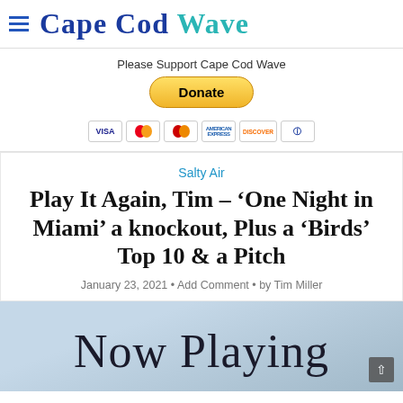Cape Cod Wave
Please Support Cape Cod Wave
Donate
[Figure (other): Payment method card icons: VISA, Mastercard, Mastercard, American Express, Discover, and another card]
Salty Air
Play It Again, Tim – ‘One Night in Miami’ a knockout, Plus a ‘Birds’ Top 10 & a Pitch
January 23, 2021 • Add Comment • by Tim Miller
[Figure (photo): A sign reading 'Now Playing' in cursive script against a light background]